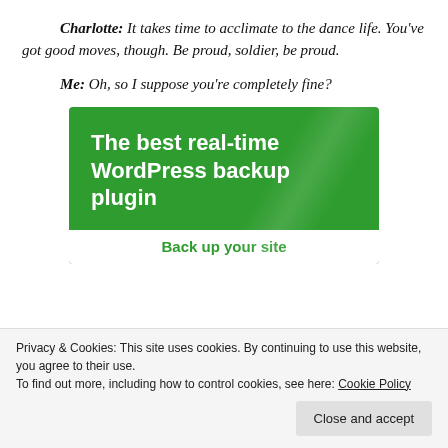Charlotte: It takes time to acclimate to the dance life. You've got good moves, though. Be proud, soldier, be proud.
Me: Oh, so I suppose you're completely fine?
[Figure (screenshot): Green advertisement banner reading 'The best real-time WordPress backup plugin' with a white button area showing 'Back up your site']
Privacy & Cookies: This site uses cookies. By continuing to use this website, you agree to their use.
To find out more, including how to control cookies, see here: Cookie Policy
Close and accept